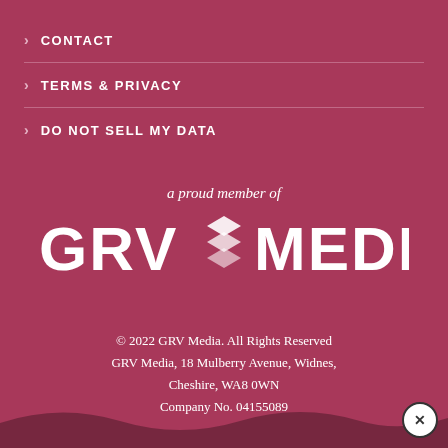CONTACT
TERMS & PRIVACY
DO NOT SELL MY DATA
a proud member of
[Figure (logo): GRV Media logo with stacked diamond/chevron icon between GRV and MEDIA text in white]
© 2022 GRV Media. All Rights Reserved
GRV Media, 18 Mulberry Avenue, Widnes,
Cheshire, WA8 0WN
Company No. 04155089